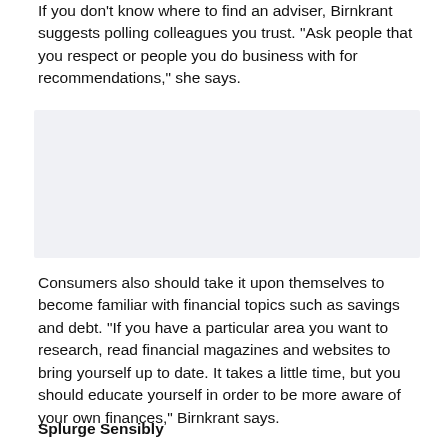If you don't know where to find an adviser, Birnkrant suggests polling colleagues you trust. "Ask people that you respect or people you do business with for recommendations," she says.
[Figure (other): Light gray advertisement or image placeholder box]
Consumers also should take it upon themselves to become familiar with financial topics such as savings and debt. "If you have a particular area you want to research, read financial magazines and websites to bring yourself up to date. It takes a little time, but you should educate yourself in order to be more aware of your own finances," Birnkrant says.
Splurge Sensibly